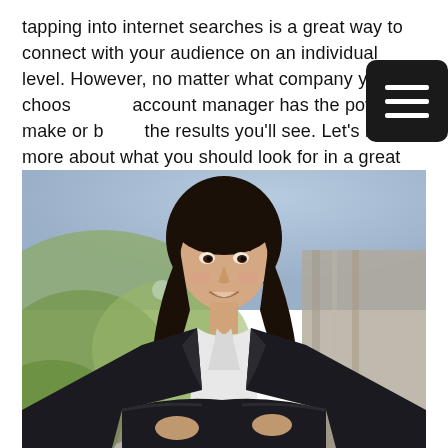tapping into internet searches is a great way to connect with your audience on an individual level. However, no matter what company you choose, your account manager has the power to make or break the results you'll see. Let's learn more about what you should look for in a great account manager.
[Figure (photo): Professional businesswoman with long dark hair, smiling, wearing a black blazer with arms crossed, posed outdoors with blurred green and blue background.]